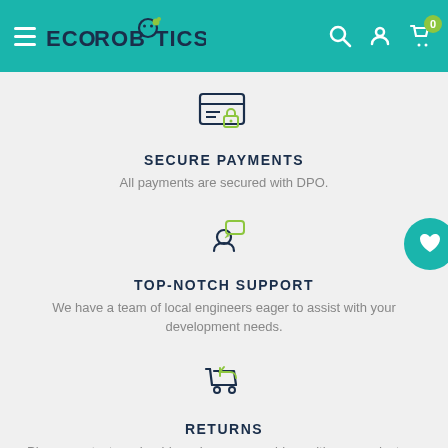ECOROBOTICS — navigation header with hamburger menu, logo, search, account, and cart icons
[Figure (illustration): Credit card with lock icon — secure payments symbol]
SECURE PAYMENTS
All payments are secured with DPO.
[Figure (illustration): Person with speech bubble — top-notch support icon]
TOP-NOTCH SUPPORT
We have a team of local engineers eager to assist with your development needs.
[Figure (illustration): Shopping cart with return arrow — returns icon]
RETURNS
Please contact us should you have any problem with our products or